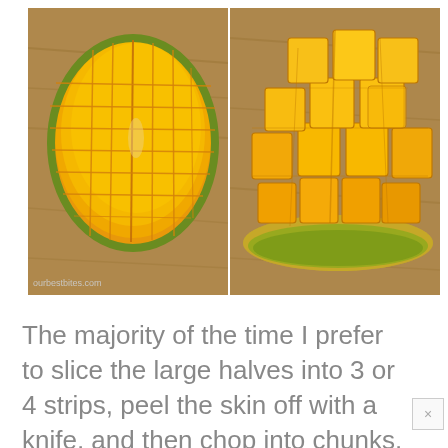[Figure (photo): Two side-by-side photos of a mango half scored with grid cuts: left photo shows flat view of scored mango half with cross-hatch knife cuts creating a grid pattern on the orange flesh; right photo shows the same mango half turned inside-out (hedgehog style) with the cubes of mango flesh fanned outward. Watermark text 'ourbestbites.com' visible on lower left of left photo.]
The majority of the time I prefer to slice the large halves into 3 or 4 strips, peel the skin off with a knife, and then chop into chunks.